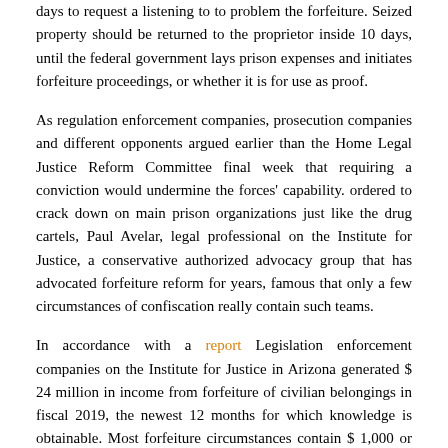days to request a listening to to problem the forfeiture. Seized property should be returned to the proprietor inside 10 days, until the federal government lays prison expenses and initiates forfeiture proceedings, or whether it is for use as proof.
As regulation enforcement companies, prosecution companies and different opponents argued earlier than the Home Legal Justice Reform Committee final week that requiring a conviction would undermine the forces' capability. ordered to crack down on main prison organizations just like the drug cartels, Paul Avelar, legal professional on the Institute for Justice, a conservative authorized advocacy group that has advocated forfeiture reform for years, famous that only a few circumstances of confiscation really contain such teams.
In accordance with a report Legislation enforcement companies on the Institute for Justice in Arizona generated $ 24 million in income from forfeiture of civilian belongings in fiscal 2019, the newest 12 months for which knowledge is obtainable. Most forfeiture circumstances contain $ 1,000 or much less in property, in keeping with the Institute for Justice. Grantham stated the property seized included money, vehicles, weapons, cell telephones, three glass pie dishes and an $ 18 Greatest Purchase...